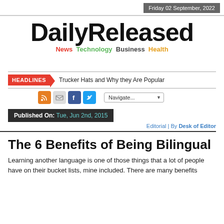Friday 02 September, 2022
DailyReleased
News Technology Business Health
HEADLINES  Trucker Hats and Why they Are Popular
Published On: Tue, Jun 2nd, 2015
Editorial | By Desk of Editor
The 6 Benefits of Being Bilingual
Learning another language is one of those things that a lot of people have on their bucket lists, mine included. There are many benefits